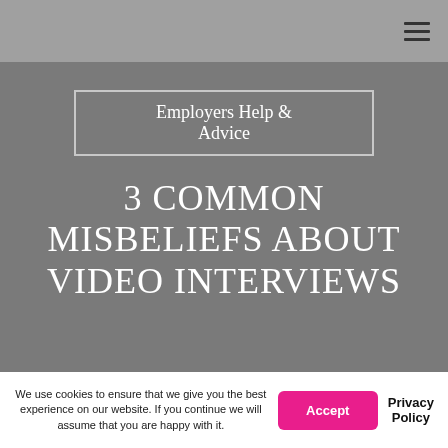Employers Help & Advice
3 COMMON MISBELIEFS ABOUT VIDEO INTERVIEWS
We use cookies to ensure that we give you the best experience on our website. If you continue we will assume that you are happy with it.
Accept
Privacy Policy